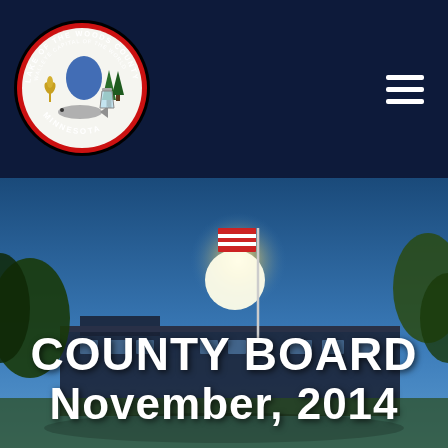[Figure (logo): Lake of the Woods County Minnesota official seal — circular emblem with red border, text 'Lake of the Woods County' and 'Walleye Capital of the World' around edge, central imagery including state map, pine tree, wheat, walleye fish, and laboratory flask, 'Minnesota' at bottom.]
[Figure (photo): Outdoor photograph of a government building (county courthouse/offices) with flagpole flying American flag, blue sky, trees in foreground, bright sunlight/lens flare visible.]
COUNTY BOARD November, 2014